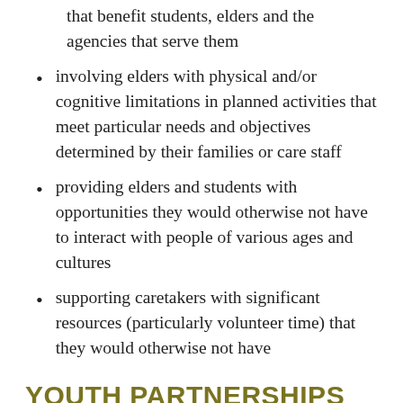that benefit students, elders and the agencies that serve them
involving elders with physical and/or cognitive limitations in planned activities that meet particular needs and objectives determined by their families or care staff
providing elders and students with opportunities they would otherwise not have to interact with people of various ages and cultures
supporting caretakers with significant resources (particularly volunteer time) that they would otherwise not have
YOUTH PARTNERSHIPS
Through the youth partnership initiative, University of Minnesota, Morris students in service-learning